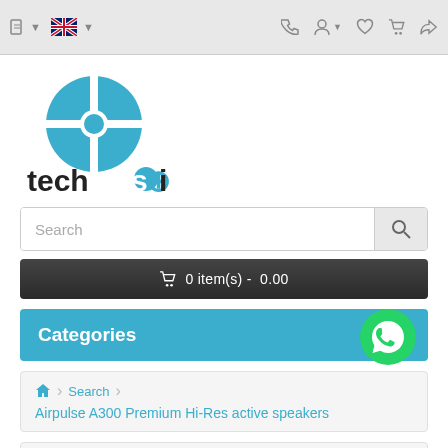Navigation bar with language selector, phone, user, wishlist, cart, and share icons
[Figure (logo): Techsoi logo: blue crosshair circle icon above bold 'techsoi' text with blue circle in the 'o']
Search
🛒 0 item(s) -  0.00
Categories
🏠 › Search › Airpulse A300 Premium Hi-Res active speakers
[Figure (screenshot): Bottom of product card showing speaker product image and 1 Year warranty badge]